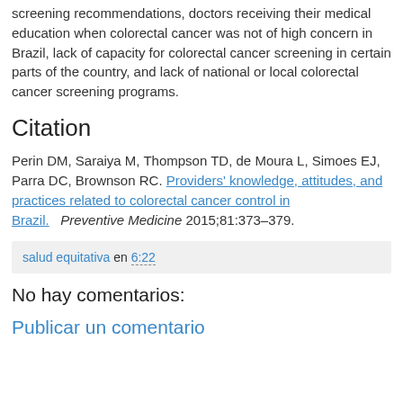screening recommendations, doctors receiving their medical education when colorectal cancer was not of high concern in Brazil, lack of capacity for colorectal cancer screening in certain parts of the country, and lack of national or local colorectal cancer screening programs.
Citation
Perin DM, Saraiya M, Thompson TD, de Moura L, Simoes EJ, Parra DC, Brownson RC. Providers' knowledge, attitudes, and practices related to colorectal cancer control in Brazil. Preventive Medicine 2015;81:373–379.
salud equitativa en 6:22
No hay comentarios:
Publicar un comentario